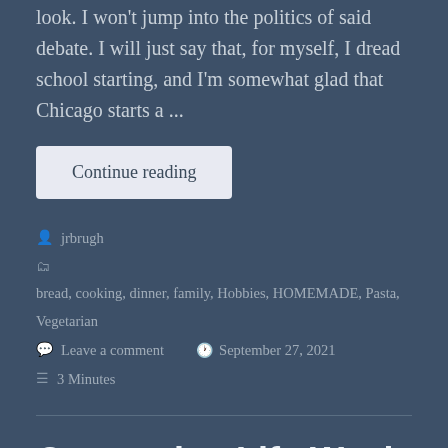look. I won't jump into the politics of said debate. I will just say that, for myself, I dread school starting, and I'm somewhat glad that Chicago starts a ...
Continue reading
jrbrugh
bread, cooking, dinner, family, Hobbies, HOMEMADE, Pasta, Vegetarian
Leave a comment   September 27, 2021
3 Minutes
Quarantine Life Week 46